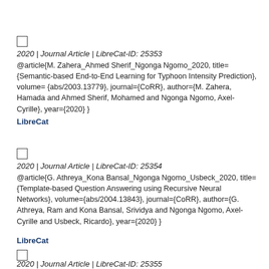☐
2020 | Journal Article | LibreCat-ID: 25353
@article{M. Zahera_Ahmed Sherif_Ngonga Ngomo_2020, title={Semantic-based End-to-End Learning for Typhoon Intensity Prediction}, volume={abs/2003.13779}, journal={CoRR}, author={M. Zahera, Hamada and Ahmed Sherif, Mohamed and Ngonga Ngomo, Axel-Cyrille}, year={2020} }
LibreCat
☐
2020 | Journal Article | LibreCat-ID: 25354
@article{G. Athreya_Kona Bansal_Ngonga Ngomo_Usbeck_2020, title={Template-based Question Answering using Recursive Neural Networks}, volume={abs/2004.13843}, journal={CoRR}, author={G. Athreya, Ram and Kona Bansal, Srividya and Ngonga Ngomo, Axel-Cyrille and Usbeck, Ricardo}, year={2020} }
LibreCat
☐
2020 | Journal Article | LibreCat-ID: 25355